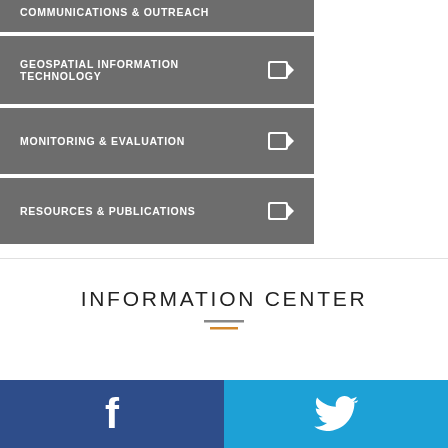COMMUNICATIONS & OUTREACH
GEOSPATIAL INFORMATION TECHNOLOGY
MONITORING & EVALUATION
RESOURCES & PUBLICATIONS
INFORMATION CENTER
[Figure (infographic): Two decorative horizontal divider lines: one gray and one orange, centered under the INFORMATION CENTER heading]
[Figure (infographic): Social media bar at the bottom with Facebook icon (dark blue) on left half and Twitter bird icon (bright blue) on right half]